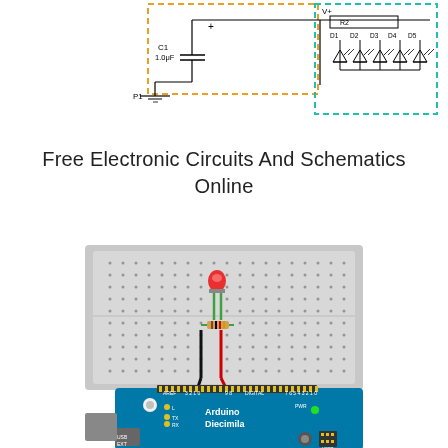[Figure (circuit-diagram): Partial electronic circuit schematic showing capacitors, LEDs, and circuit components with orange and cyan dashed bounding boxes highlighting sections of the circuit diagram.]
Free Electronic Circuits And Schematics Online
[Figure (photo): Photo of an Arduino Diecimila microcontroller board connected to a breadboard with a red LED and a resistor. Black and red wires connect the breadboard to the Arduino board. The breadboard shows a red LED mounted vertically with green leads and a resistor.]